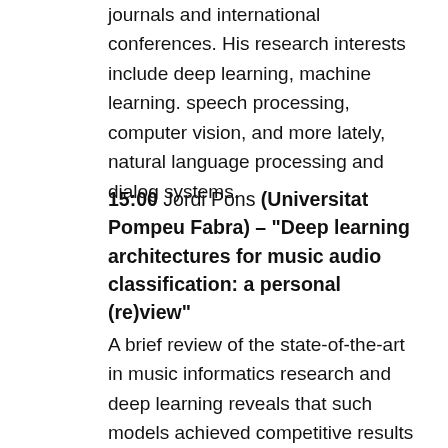journals and international conferences. His research interests include deep learning, machine learning. speech processing, computer vision, and more lately, natural language processing and dialog systems.
15:00 Jordi Pons (Universitat Pompeu Fabra) – "Deep learning architectures for music audio classification: a personal (re)view"
A brief review of the state-of-the-art in music informatics research and deep learning reveals that such models achieved competitive results for several music-related tasks. In this talk I will provide insights in which deep learning architectures are (according to our experience) performing the best for audio classification. To this